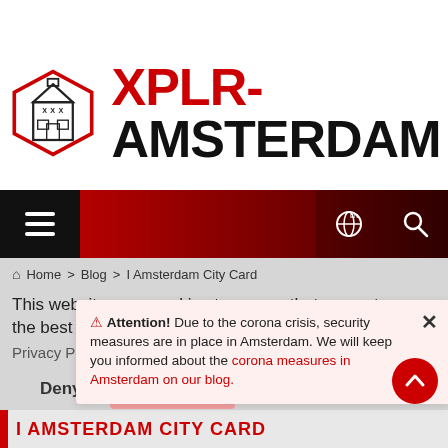[Figure (logo): XPLR-Amsterdam logo: hexagonal icon with Amsterdam building silhouette on left, bold red XPLR- text and black AMSTERDAM text on right]
[Figure (screenshot): Website navigation bar with dark red gradient background, hamburger menu icon on black background left, globe/EN icon and search icon on right]
⌂  Home  >  Blog  >  I Amsterdam City Card
This website uses cookies to ensure that you get the best experience on our website.
Privacy Policy
Deny   Allow
⚠ Attention! Due to the corona crisis, security measures are in place in Amsterdam. We will keep you informed about the corona measures in Amsterdam on our blog.
I AMSTERDAM CITY CARD